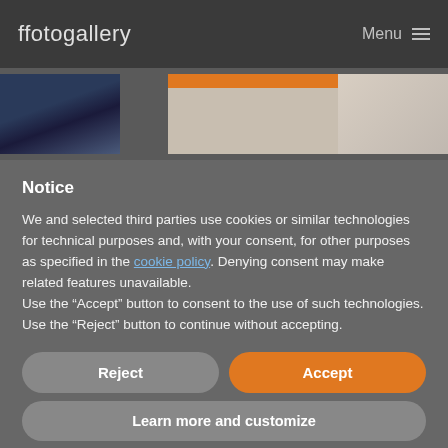ffotogallery  Menu
[Figure (screenshot): A horizontal strip showing partial thumbnails of gallery images: a dark blue/night sky image on the left, a website screenshot with orange header bar and multiple portrait photos in the center, and a light-toned image on the right.]
Notice
We and selected third parties use cookies or similar technologies for technical purposes and, with your consent, for other purposes as specified in the cookie policy. Denying consent may make related features unavailable.
Use the “Accept” button to consent to the use of such technologies. Use the “Reject” button to continue without accepting.
Reject
Accept
Learn more and customize